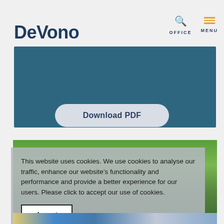the summer draws to a close, many focus is fixed on a gradual, but mass
[Figure (logo): DeVono logo in dark navy blue bold text]
[Figure (other): Navigation with search (OFFICE) and hamburger menu (MENU) icons]
[Figure (other): Teal/slate blue rectangular block]
Download PDF
[Figure (photo): Green trees/foliage background photo]
This website uses cookies. We use cookies to analyse our traffic, enhance our website’s functionality and performance and provide a better experience for our users. Please click to accept our use of cookies.
Accept
[Figure (photo): Bottom strip showing townhouses/street scene]